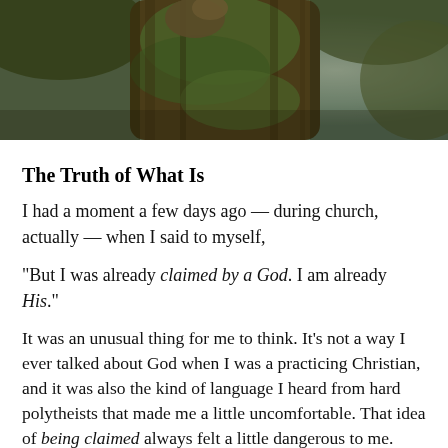[Figure (photo): Close-up photo of a bird perched on or near a moss-covered tree trunk, with blurred green foliage in the background.]
The Truth of What Is
I had a moment a few days ago — during church, actually — when I said to myself,
“But I was already claimed by a God. I am already His.”
It was an unusual thing for me to think. It’s not a way I ever talked about God when I was a practicing Christian, and it was also the kind of language I heard from hard polytheists that made me a little uncomfortable. That idea of being claimed always felt a little dangerous to me.
But I thought it. It made sense. It felt true.
I have been changed by my time with ADF. I can’t deny that. I have different ideas about divinity now. I’ve come to recognize, even more so than I already believed, that there